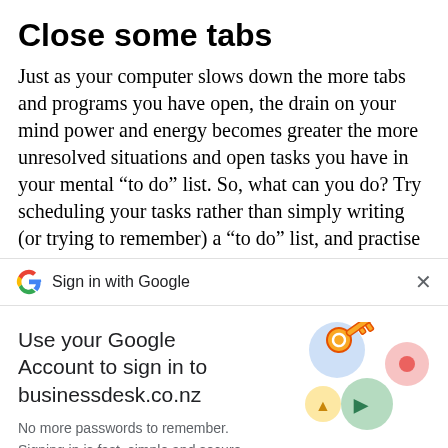Close some tabs
Just as your computer slows down the more tabs and programs you have open, the drain on your mind power and energy becomes greater the more unresolved situations and open tasks you have in your mental “to do” list. So, what can you do? Try scheduling your tasks rather than simply writing (or trying to remember) a “to do” list, and practise
[Figure (screenshot): Google Sign in with Google bar with Google G logo and close X button]
Use your Google Account to sign in to businessdesk.co.nz
No more passwords to remember.
Signing in is fast, simple and secure.
[Figure (illustration): Google account sign-in illustration with key and colorful circles]
Continue